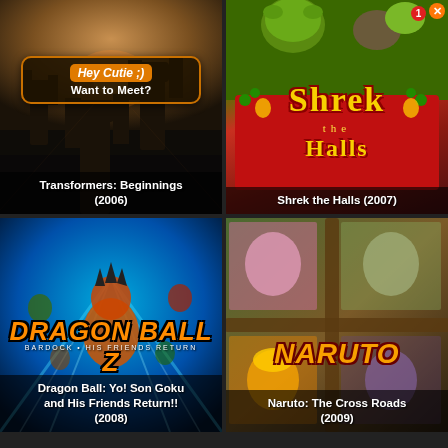[Figure (screenshot): Movie poster for Transformers: Beginnings (2006) — dark scene with robotic figures silhouetted against warm orange sky]
Transformers: Beginnings (2006)
[Figure (screenshot): Movie poster for Shrek the Halls (2007) — Shrek and characters on red background with holiday text]
Shrek the Halls (2007)
[Figure (screenshot): Movie poster for Dragon Ball: Yo! Son Goku and His Friends Return!! (2008) — anime characters with Goku prominent in foreground]
Dragon Ball: Yo! Son Goku and His Friends Return!! (2008)
[Figure (screenshot): Movie poster for Naruto: The Cross Roads (2009) — Naruto and friends on wooden cross-frame background]
Naruto: The Cross Roads (2009)
Hey Cutie ;) Want to Meet?